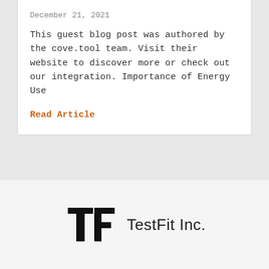December 21, 2021
This guest blog post was authored by the cove.tool team. Visit their website to discover more or check out our integration. Importance of Energy Use
Read Article
[Figure (logo): TestFit Inc. logo with stylized 'tf' letters in bold black and company name 'TestFit Inc.' in sans-serif font]